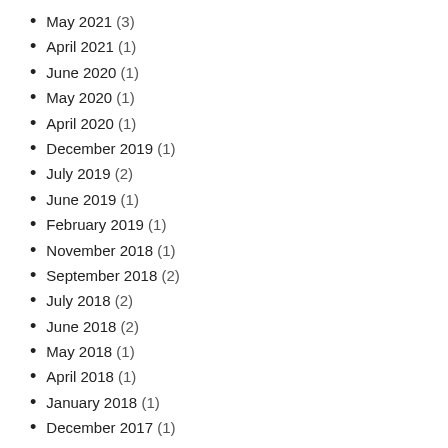May 2021 (3)
April 2021 (1)
June 2020 (1)
May 2020 (1)
April 2020 (1)
December 2019 (1)
July 2019 (2)
June 2019 (1)
February 2019 (1)
November 2018 (1)
September 2018 (2)
July 2018 (2)
June 2018 (2)
May 2018 (1)
April 2018 (1)
January 2018 (1)
December 2017 (1)
October 2017 (4)